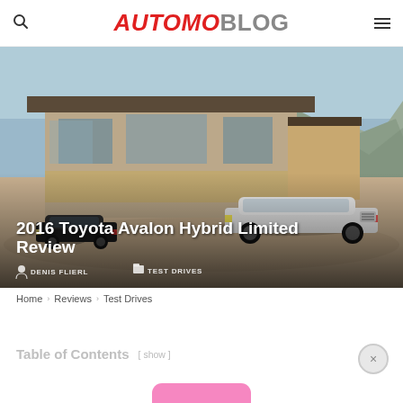AUTOMOBLOG
[Figure (photo): Hero image showing two Toyota Avalon cars (one black, one white) parked in front of a modern house with mountains in background. Text overlay: '2016 Toyota Avalon Hybrid Limited Review' by DENIS FLIERL in TEST DRIVES category.]
2016 Toyota Avalon Hybrid Limited Review
DENIS FLIERL  TEST DRIVES
Home > Reviews > Test Drives
Table of Contents [ show ]